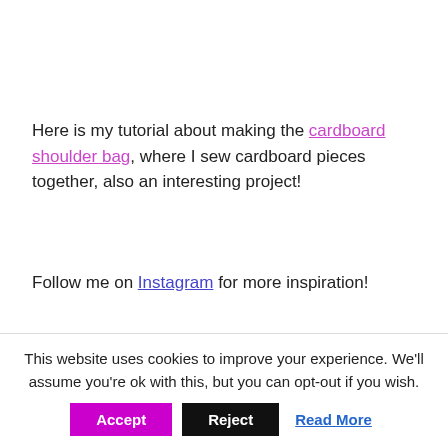Here is my tutorial about making the cardboard shoulder bag, where I sew cardboard pieces together, also an interesting project!
Follow me on Instagram for more inspiration!
Write a comment · Posted in Accessories and tagged cardboard funiture diy, cardboard table diy, making cardboard furniture
This website uses cookies to improve your experience. We'll assume you're ok with this, but you can opt-out if you wish. Accept Reject Read More